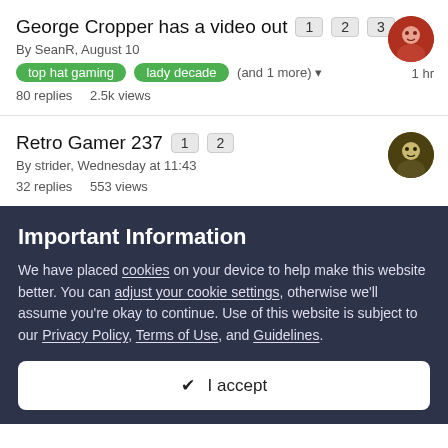George Cropper has a video out  1  2  3
By SeanR, August 10
top hat gaming   lady decade   (and 1 more)
80 replies   2.5k views
1 hr
Retro Gamer 237  1  2
By strider, Wednesday at 11:43
32 replies   553 views
3 hr
Important Information
We have placed cookies on your device to help make this website better. You can adjust your cookie settings, otherwise we'll assume you're okay to continue. Use of this website is subject to our Privacy Policy, Terms of Use, and Guidelines.
✔ I accept